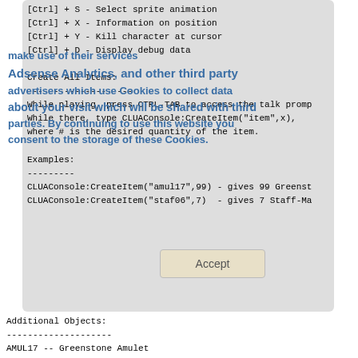[Ctrl] + S - Select sprite animation
[Ctrl] + X - Information on position
[Ctrl] + Y - Kill character at cursor
[Ctrl] + D - Display debug data
Create All Items:
--------------------
While playing, press CTRL-TAB to access the talk promp
While there, type CLUAConsole:CreateItem("item",x),
where # is the desired quantity of the item.
Examples:
---------
CLUAConsole:CreateItem("amul17",99) - gives 99 Greenst
CLUAConsole:CreateItem("staf06",7)  - gives 7 Staff-Ma
Additional Objects:
--------------------
AMUL17 -- Greenstone Amulet
MISC2M -- Dwarven Rune Wardstone
MISC20 -- Lock of hair from Kirindale
MISC2I -- Wardstone Forgery
STAF06 -- Staff-Mace
STAF07 -- Staff-Spear +2
STAF08 -- Quarterstaff +3
SCRL5A -- Mental Domination
SCRL5B -- Defensive Harmony
SCRL5C -- Protection from lightening